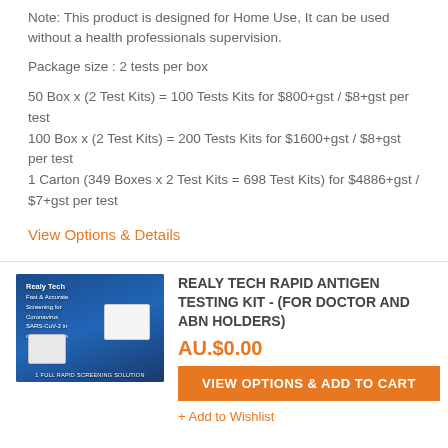Note: This product is designed for Home Use, It can be used without a health professionals supervision.
Package size : 2 tests per box
50 Box x (2 Test Kits) = 100 Tests Kits for $800+gst / $8+gst per test
100 Box x (2 Test Kits) = 200 Tests Kits for $1600+gst / $8+gst per test
1 Carton (349 Boxes x 2 Test Kits = 698 Test Kits) for $4886+gst / $7+gst per test
View Options & Details
[Figure (photo): Product image of Realy Tech Rapid Antigen Testing Kit showing packaging and test components on a blue background with text 'Fast & Accurate Screening for Coronavirus SARS-CoV-2 in only 10 Minutes']
REALY TECH RAPID ANTIGEN TESTING KIT - (FOR DOCTOR AND ABN HOLDERS)
AU.$0.00
VIEW OPTIONS & ADD TO CART